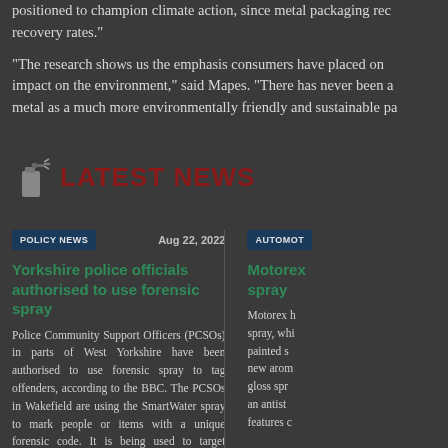positioned to champion climate action, since metal packaging rec recovery rates."

"The research shows us the emphasis consumers have placed on impact on the environment," said Mapes. "There has never been a metal as a much more environmentally friendly and sustainable pa
LATEST NEWS
POLICY NEWS   Aug 22, 2022
Yorkshire police officials authorised to use forensic spray
Police Community Support Officers (PCSOs) in parts of West Yorkshire have been authorised to use forensic spray to tag offenders, according to the BBC. The PCSOs in Wakefield are using the SmartWater spray to mark people or items with a unique forensic code. It is being used to target criminality linked to off-road bikes, street drinking and shoplifting. West Yorkshire. [Read More]
AUTOMOT...
Motorex spray
Motorex has spray, whi painted s new aro gloss spr an antis features c